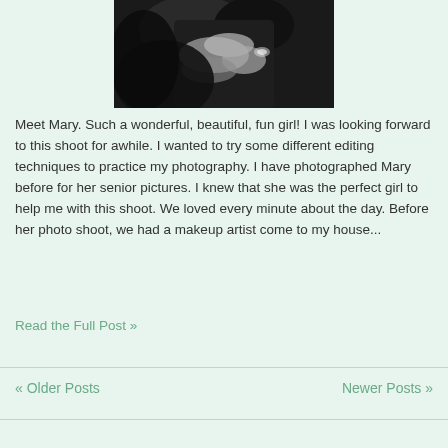[Figure (photo): Black and white close-up photo of a woman's hands near her face, wearing a ring]
Meet Mary. Such a wonderful, beautiful, fun girl! I was looking forward to this shoot for awhile. I wanted to try some different editing techniques to practice my photography. I have photographed Mary before for her senior pictures. I knew that she was the perfect girl to help me with this shoot. We loved every minute about the day. Before her photo shoot, we had a makeup artist come to my house...
Read the Full Post »
« Older Posts    Newer Posts »